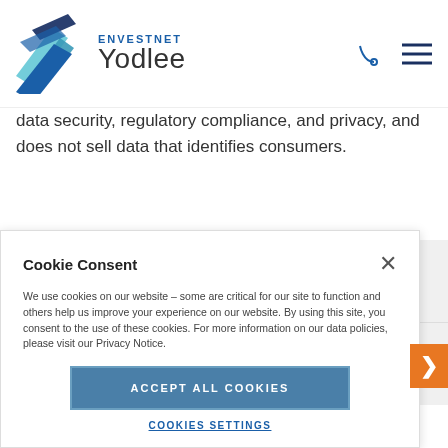ENVESTNET Yodlee
data security, regulatory compliance, and privacy, and does not sell data that identifies consumers.
INVESTOR DATA ANALYTICS
CORPORATE DATA ANALYTICS
Cookie Consent
We use cookies on our website – some are critical for our site to function and others help us improve your experience on our website. By using this site, you consent to the use of these cookies. For more information on our data policies, please visit our Privacy Notice.
Accept All Cookies
Cookies Settings